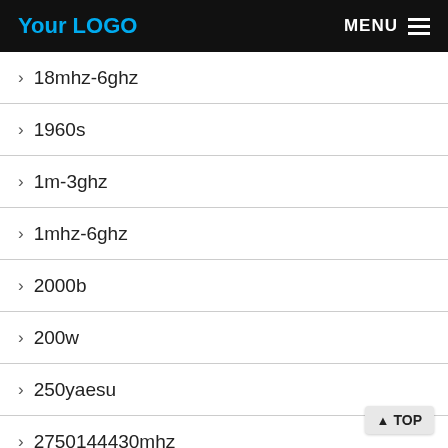Your LOGO | MENU
18mhz-6ghz
1960s
1m-3ghz
1mhz-6ghz
2000b
200w
250yaesu
2750144430mhz
2pcs
33cm
33ft
3gwifi